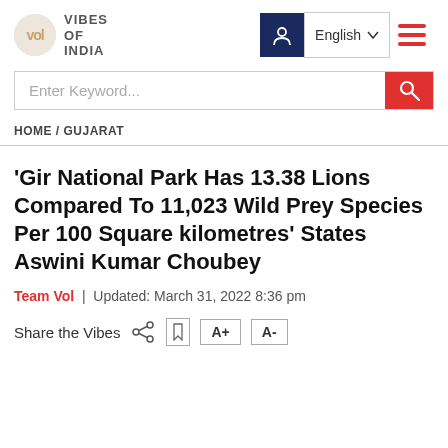VIBES OF INDIA — English
Enter Keyword...
HOME / GUJARAT
'Gir National Park Has 13.38 Lions Compared To 11,023 Wild Prey Species Per 100 Square kilometres' States Aswini Kumar Choubey
Team Vol | Updated: March 31, 2022 8:36 pm
Share the Vibes   A+   A-